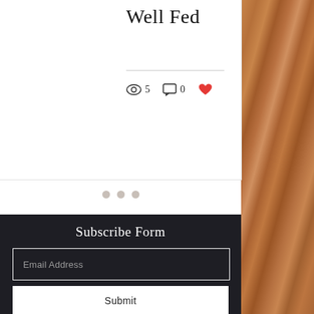Well Fed
5  0
[Figure (infographic): Pagination dots: three gray circles]
Subscribe Form
Email Address
Submit
(870) 285-2511
Chat